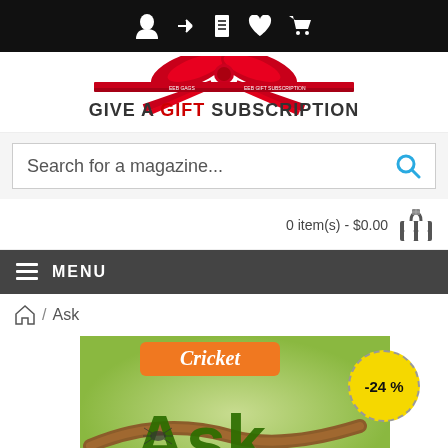Navigation icons: user, arrow, document, heart, cart
[Figure (logo): Give A Gift Subscription logo with red ribbon bow and text 'GIVE A GIFT SUBSCRIPTION']
Search for a magazine...
0 item(s) - $0.00
MENU
Home / Ask
[Figure (photo): Cricket magazine Ask issue cover showing green 'Ask' text and insect on branch with a -24% discount badge]